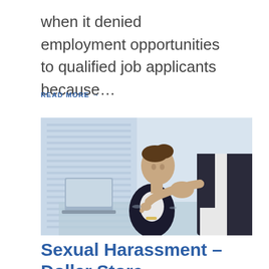when it denied employment opportunities to qualified job applicants because…
READ MORE →
[Figure (photo): A woman sitting at a desk working on a laptop while a man behind her points at her and places his hand on her shoulder, depicting workplace sexual harassment.]
Sexual Harassment – Dollar Store